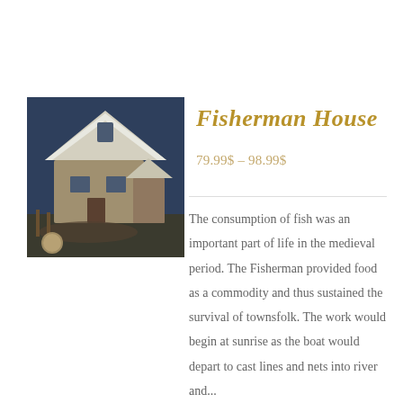[Figure (photo): Photo of a detailed miniature model of a Fisherman House with medieval architecture, dark blue background, snowy rooftop, wooden structure with dockside elements.]
Fisherman House
79.99$ – 98.99$
The consumption of fish was an important part of life in the medieval period. The Fisherman provided food as a commodity and thus sustained the survival of townsfolk. The work would begin at sunrise as the boat would depart to cast lines and nets into river and...